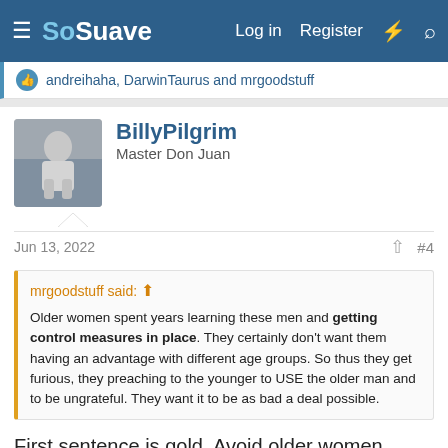SoSuave — Log in  Register
andreihaha, DarwinTaurus and mrgoodstuff
BillyPilgrim
Master Don Juan
Jun 13, 2022  #4
mrgoodstuff said: ↑
Older women spent years learning these men and getting control measures in place. They certainly don't want them having an advantage with different age groups. So thus they get furious, they preaching to the younger to USE the older man and to be ungrateful. They want it to be as bad a deal possible.
First sentence is gold. Avoid older women unless they are fresh out of an LTR, a hotwife, or has extremely high interest.